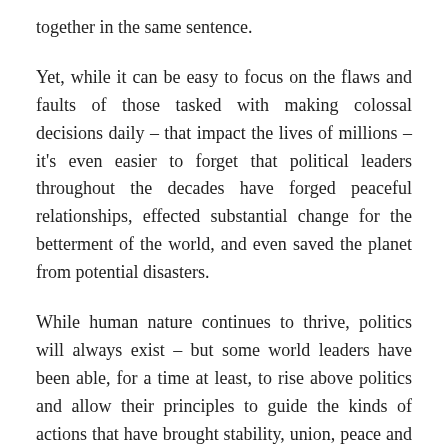together in the same sentence.
Yet, while it can be easy to focus on the flaws and faults of those tasked with making colossal decisions daily – that impact the lives of millions – it's even easier to forget that political leaders throughout the decades have forged peaceful relationships, effected substantial change for the betterment of the world, and even saved the planet from potential disasters.
While human nature continues to thrive, politics will always exist – but some world leaders have been able, for a time at least, to rise above politics and allow their principles to guide the kinds of actions that have brought stability, union, peace and progress to the world.